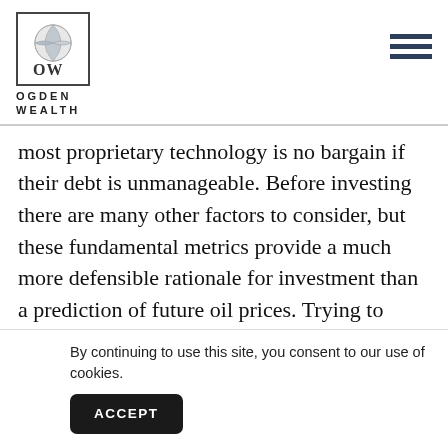[Figure (logo): Ogden Wealth logo: circular globe-like emblem above stylized OW letters inside a bordered box, with OGDEN WEALTH text below]
most proprietary technology is no bargain if their debt is unmanageable. Before investing there are many other factors to consider, but these fundamental metrics provide a much more defensible rationale for investment than a prediction of future oil prices. Trying to forecast the future price of a volatile commodity is a waste of time. Too many of the factors that influence th o w
By continuing to use this site, you consent to our use of cookies.
ACCEPT